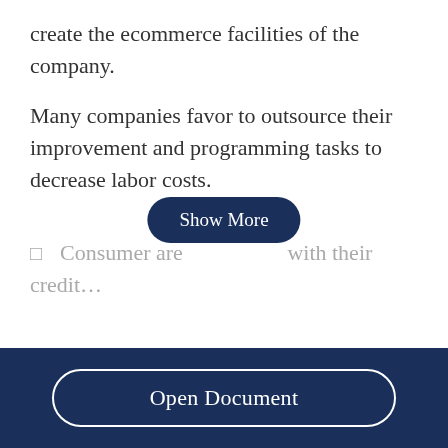create the ecommerce facilities of the company.
Many companies favor to outsource their improvement and programming tasks to decrease labor costs.
Consumer are … with their credit…
Open Document